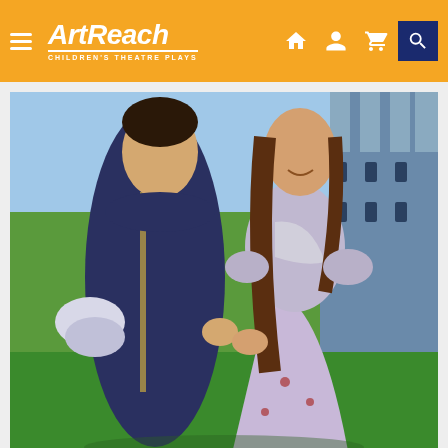ArtReach Children's Theatre Plays
[Figure (photo): Two young performers in medieval/fairy-tale costumes on a stage set with a green lawn and castle backdrop. A young man in a dark blue robe faces a young woman in a silver and lilac dress; they are holding hands and smiling at each other.]
School Plays & Musicals Written Especially for Kids to Perform
Adapted for Young Performers: Speeches are short